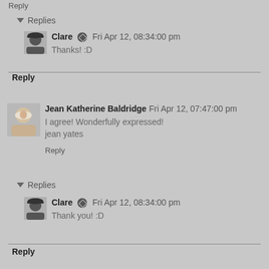Reply
▾ Replies
Clare  Fri Apr 12, 08:34:00 pm
Thanks! :D
Reply
Jean Katherine Baldridge  Fri Apr 12, 07:47:00 pm
I agree! Wonderfully expressed!
jean yates
Reply
▾ Replies
Clare  Fri Apr 12, 08:34:00 pm
Thank you! :D
Reply